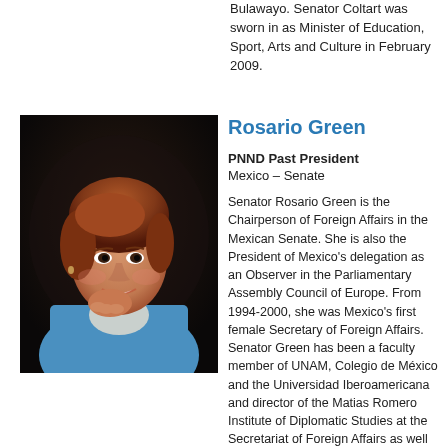Bulawayo. Senator Coltart was sworn in as Minister of Education, Sport, Arts and Culture in February 2009.
[Figure (photo): Portrait photo of Rosario Green, a woman with short reddish-brown hair wearing a blue jacket, smiling with hand resting on chin against a dark background.]
Rosario Green
PNND Past President
Mexico – Senate
Senator Rosario Green is the Chairperson of Foreign Affairs in the Mexican Senate. She is also the President of Mexico's delegation as an Observer in the Parliamentary Assembly Council of Europe.  From 1994-2000, she was Mexico's first female Secretary of Foreign Affairs.  Senator Green has been a faculty member of UNAM, Colegio de México and the Universidad Iberoamericana and director of the Matias Romero Institute of Diplomatic Studies at the Secretariat of Foreign Affairs as well as president of Fundación Colosio. She has been an Ambassador to East Germany, Ambassador to Argentina, executive secretary of the National Human Rights Commission, and sub-secretary for Political Affairs of the United Nations.